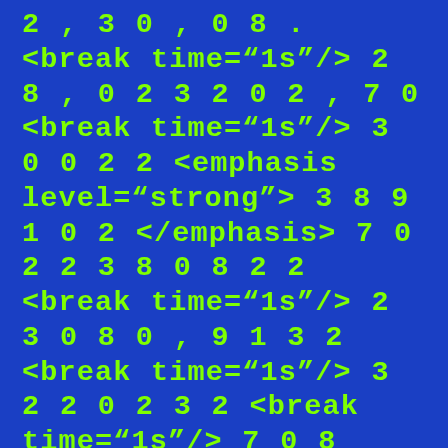2 , 3 0 , 0 8 . <break time="1s"/> 2 8 , 0 2 3 2 0 2 , 7 0 <break time="1s"/> 3 0 0 2 2 <emphasis level="strong"> 3 8 9 1 0 2 </emphasis> 7 0 2 2 3 8 0 8 2 2 <break time="1s"/> 2 3 0 8 0 , 9 1 3 2 <break time="1s"/> 3 2 2 0 2 3 2 <break time="1s"/> 7 0 8 <break time="1s"/> 2 0 0 <break time="1s"/> 3 0 9 1 8 2 3 , 9 1 3 9 1 0 <break time="1s"/> 3 9 1 2 3 2 2 0 2 3 <emphasis level="strong"> 3 8 2 0 9 1 3 8 </emphasis> 3 2 0 , 2 7 0 , 2 3 2 0 , 2 0 2 2 2 <break time="1s"/> 8 2 2 2 3 . <break time="2s"/> 2 , 2 , 2 0 0 8 <break time="1s"/> 7 0 0 1 0 0 2 3 0 1 , 3 0 1 0 ,